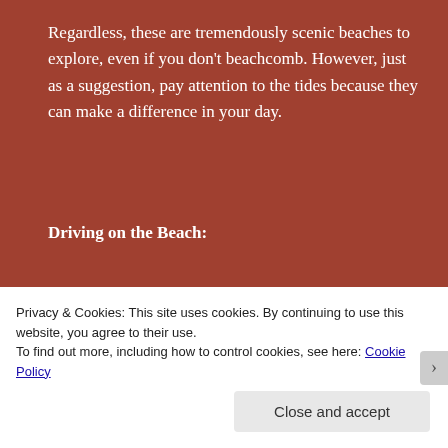Regardless, these are tremendously scenic beaches to explore, even if you don't beachcomb. However, just as a suggestion, pay attention to the tides because they can make a difference in your day.
Driving on the Beach:
Speaking of tides, yet again they can determine your activities for the day.
Another unique feature of Pismo Beach is the fact that
Privacy & Cookies: This site uses cookies. By continuing to use this website, you agree to their use.
To find out more, including how to control cookies, see here: Cookie Policy